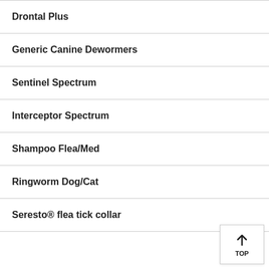Drontal Plus
Generic Canine Dewormers
Sentinel Spectrum
Interceptor Spectrum
Shampoo Flea/Med
Ringworm Dog/Cat
Seresto® flea tick collar